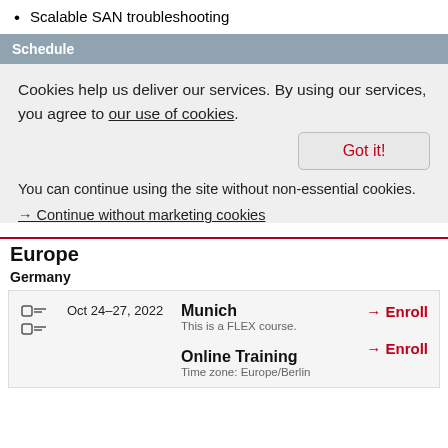Scalable SAN troubleshooting
Schedule
Cookies help us deliver our services. By using our services, you agree to our use of cookies.
Got it!
You can continue using the site without non-essential cookies.
→ Continue without marketing cookies
Europe
Germany
| Date | Location | Enroll |
| --- | --- | --- |
| Oct 24–27, 2022 | Munich
This is a FLEX course. | → Enroll |
|  | Online Training
Time zone: Europe/Berlin | → Enroll |